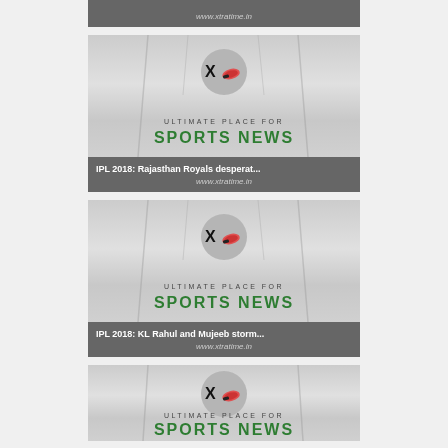[Figure (screenshot): Top partial card showing www.xtratime.in URL on dark grey banner]
[Figure (screenshot): Xtratime sports news card with logo, tagline 'Ultimate Place For Sports News', and headline 'IPL 2018: Rajasthan Royals desperat...' with www.xtratime.in]
[Figure (screenshot): Xtratime sports news card with logo, tagline 'Ultimate Place For Sports News', and headline 'IPL 2018: KL Rahul and Mujeeb storm...' with www.xtratime.in]
[Figure (screenshot): Partial Xtratime sports news card showing logo and 'Ultimate Place For Sports News' text partially cut off at bottom]